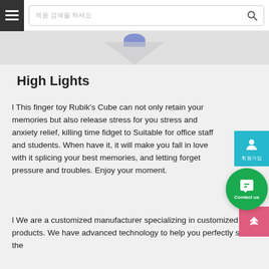Search bar with hamburger menu and search icon
[Figure (photo): Partial product image area showing grey background with a blue circular element and triangular shadow shape visible at top]
High Lights
l This finger toy Rubik's Cube can not only retain your memories but also release stress for you stress and anxiety relief, killing time fidget to Suitable for office staff and students. When have it, it will make you fall in love with it splicing your best memories, and letting forget pressure and troubles. Enjoy your moment.
l We are a customized manufacturer specializing in customized products. We have advanced technology to help you perfectly show the